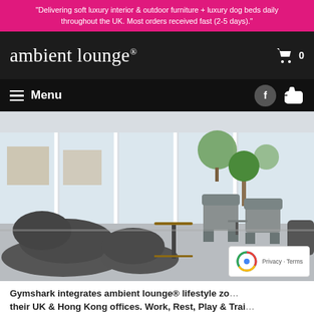"Delivering soft luxury interior & outdoor furniture + luxury dog beds daily throughout the UK. Most orders received fast (2-5 days)."
ambient lounge®
Menu
[Figure (photo): Interior lounge area with dark gray bean bag chairs/sofas and contemporary armchairs arranged on gray carpet, floor-to-ceiling windows showing an office building exterior and trees outside.]
Gymshark integrates ambient lounge® lifestyle zo their UK & Hong Kong offices. Work, Rest, Play & Trai...